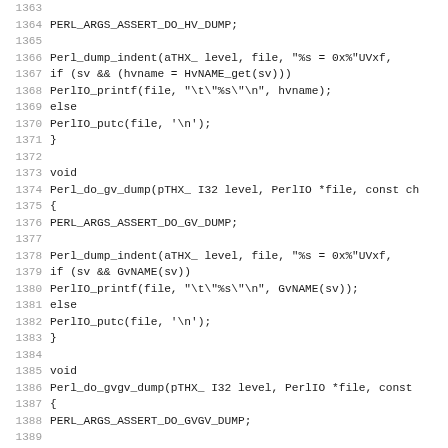Source code listing lines 1363-1394, C/Perl source code
1363 (blank)
1364     PERL_ARGS_ASSERT_DO_HV_DUMP;
1365 (blank)
1366     Perl_dump_indent(aTHX_ level, file, "%s = 0x%"UVxf,
1367     if (sv && (hvname = HvNAME_get(sv)))
1368         PerlIO_printf(file, "\t\"%s\"\n", hvname);
1369     else
1370         PerlIO_putc(file, '\n');
1371 }
1372 (blank)
1373 void
1374 Perl_do_gv_dump(pTHX_ I32 level, PerlIO *file, const ch
1375 {
1376     PERL_ARGS_ASSERT_DO_GV_DUMP;
1377 (blank)
1378     Perl_dump_indent(aTHX_ level, file, "%s = 0x%"UVxf,
1379     if (sv && GvNAME(sv))
1380         PerlIO_printf(file, "\t\"%s\"\n", GvNAME(sv));
1381     else
1382         PerlIO_putc(file, '\n');
1383 }
1384 (blank)
1385 void
1386 Perl_do_gvgv_dump(pTHX_ I32 level, PerlIO *file, const
1387 {
1388     PERL_ARGS_ASSERT_DO_GVGV_DUMP;
1389 (blank)
1390     Perl_dump_indent(aTHX_ level, file, "%s = 0x%"UVxf,
1391     if (sv && GvNAME(sv)) {
1392         const char *hvname;
1393         PerlIO_printf(file, "\t\"");
1394     if (GvSTASH(sv) && (hvname = HvNAME_get(GvSTASH